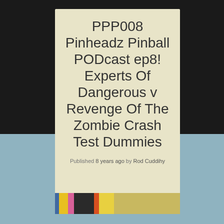PPP008 Pinheadz Pinball PODcast ep8! Experts Of Dangerous v Revenge Of The Zombie Crash Test Dummies
Published 8 years ago by Rod Cuddihy
[Figure (other): Partial thumbnail image strip at the bottom of the card showing colorful horizontal color bands]